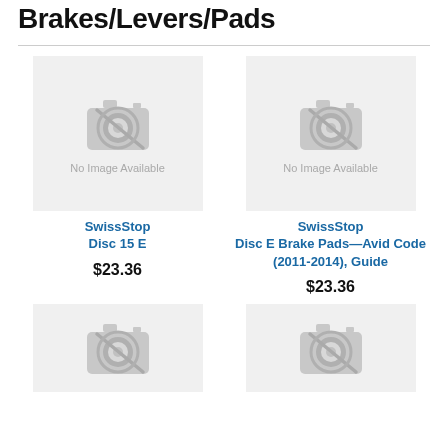Brakes/Levers/Pads
[Figure (photo): No Image Available placeholder for SwissStop Disc 15 E]
SwissStop
Disc 15 E
$23.36
[Figure (photo): No Image Available placeholder for SwissStop Disc E Brake Pads—Avid Code (2011-2014), Guide]
SwissStop
Disc E Brake Pads—Avid Code (2011-2014), Guide
$23.36
[Figure (photo): No Image Available placeholder for product (bottom left)]
[Figure (photo): No Image Available placeholder for product (bottom right)]